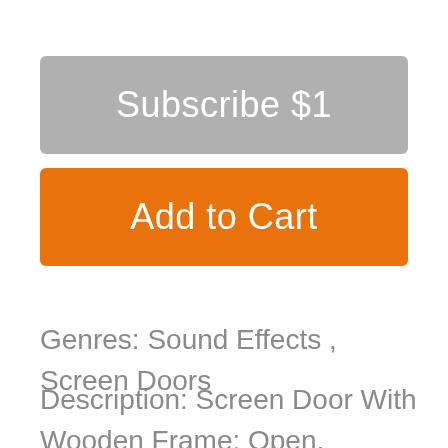Subscribe $1
Add to Cart
Genres: Sound Effects , Screen Doors
Description: Screen Door With Wooden Frame: Open, Cottage Door Creaks & Squeaks;Screen